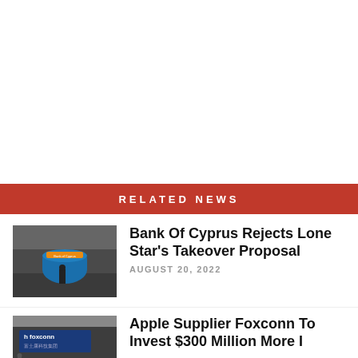RELATED NEWS
[Figure (photo): Bank of Cyprus branch interior with blue circular kiosk and people]
Bank Of Cyprus Rejects Lone Star's Takeover Proposal
AUGUST 20, 2022
[Figure (photo): Foxconn factory or office building exterior with blue signage]
Apple Supplier Foxconn To Invest $300 Million More I